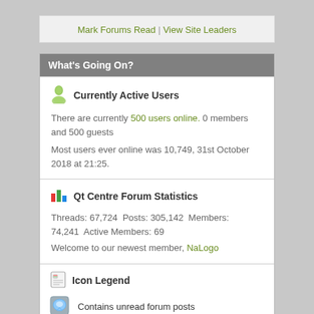Mark Forums Read | View Site Leaders
What's Going On?
Currently Active Users
There are currently 500 users online. 0 members and 500 guests
Most users ever online was 10,749, 31st October 2018 at 21:25.
Qt Centre Forum Statistics
Threads: 67,724  Posts: 305,142  Members: 74,241  Active Members: 69
Welcome to our newest member, NaLogo
Icon Legend
Contains unread forum posts
Contains no unread forum posts
Forum is a category
Forum is a Link